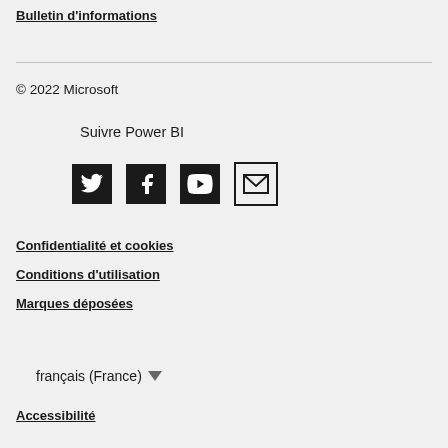Bulletin d'informations
© 2022 Microsoft
Suivre Power BI
[Figure (illustration): Social media icons: Twitter, Facebook, YouTube, and Email/Newsletter icons in black]
Confidentialité et cookies
Conditions d'utilisation
Marques déposées
français (France) ▼
Accessibilité